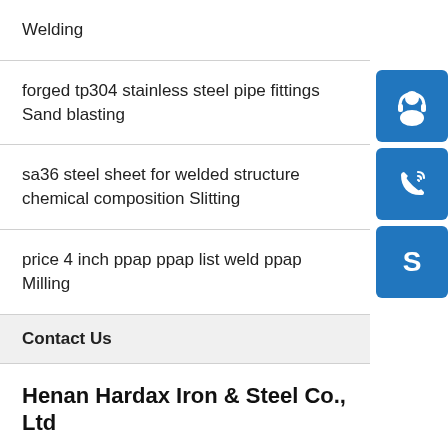Welding
forged tp304 stainless steel pipe fittings Sand blasting
sa36 steel sheet for welded structure chemical composition Slitting
price 4 inch ppap ppap list weld ppap Milling
Contact Us
Henan Hardax Iron & Steel Co., Ltd
Tel: 0086.371.86151827
E-Mail: boilersteels@outlook.com
Address: Development Zone, Zhengzhou, China
[Figure (infographic): Three blue square icon buttons: a customer service headset icon, a phone/call icon, and a Skype icon, stacked vertically on the right side of the page.]